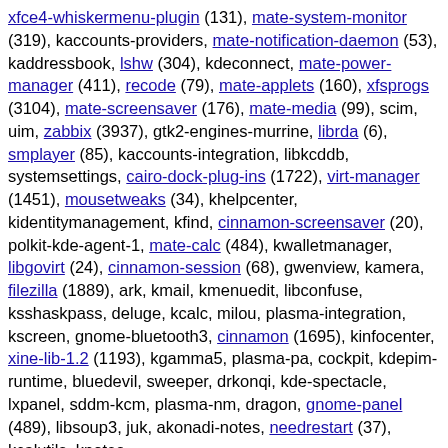xfce4-whiskermenu-plugin (131), mate-system-monitor (319), kaccounts-providers, mate-notification-daemon (53), kaddressbook, lshw (304), kdeconnect, mate-power-manager (411), recode (79), mate-applets (160), xfsprogs (3104), mate-screensaver (176), mate-media (99), scim, uim, zabbix (3937), gtk2-engines-murrine, librda (6), smplayer (85), kaccounts-integration, libkcddb, systemsettings, cairo-dock-plug-ins (1722), virt-manager (1451), mousetweaks (34), khelpcenter, kidentitymanagement, kfind, cinnamon-screensaver (20), polkit-kde-agent-1, mate-calc (484), kwalletmanager, libgovirt (24), cinnamon-session (68), gwenview, kamera, filezilla (1889), ark, kmail, kmenuedit, libconfuse, ksshaskpass, deluge, kcalc, milou, plasma-integration, kscreen, gnome-bluetooth3, cinnamon (1695), kinfocenter, xine-lib-1.2 (1193), kgamma5, plasma-pa, cockpit, kdepim-runtime, bluedevil, sweeper, drkonqi, kde-spectacle, lxpanel, sddm-kcm, plasma-nm, dragon, gnome-panel (489), libsoup3, juk, akonadi-notes, needrestart (37), kcalutils, knotes,